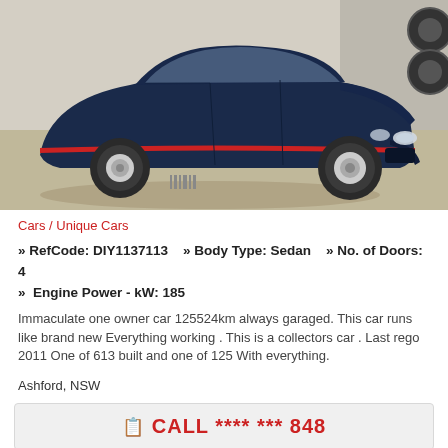[Figure (photo): Dark navy blue sedan car with red stripe, parked in a garage/workshop setting, front three-quarter view]
Cars / Unique Cars
» RefCode: DIY1137113    » Body Type: Sedan    » No. of Doors: 4
» Engine Power - kW: 185
Immaculate one owner car 125524km always garaged. This car runs like brand new Everything working . This is a collectors car . Last rego 2011 One of 613 built and one of 125 With everything.
Ashford, NSW
CALL **** *** 848
SAVE ITEM